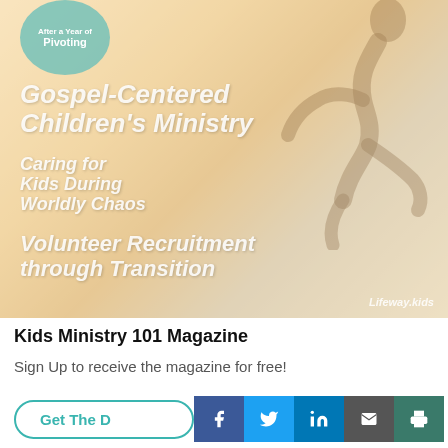[Figure (illustration): Kids Ministry 101 Magazine cover showing a silhouette of a running child on a warm golden-brown background, with text overlays: 'After a Year of Pivoting', 'Gospel-Centered Children's Ministry', 'Caring for Kids During Worldly Chaos', 'Volunteer Recruitment through Transition', and the Lifeway.kids brand in the lower right corner.]
Kids Ministry 101 Magazine
Sign Up to receive the magazine for free!
Get The D...